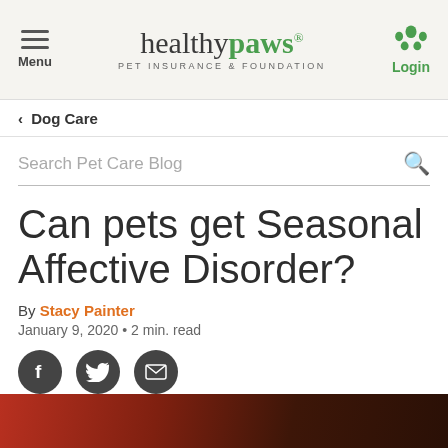Menu | healthypaws® PET INSURANCE & FOUNDATION | Login
< Dog Care
Search Pet Care Blog
Can pets get Seasonal Affective Disorder?
By Stacy Painter
January 9, 2020 • 2 min. read
[Figure (other): Social sharing icons: Facebook, Twitter, Email]
[Figure (photo): Partial image of a pet at the bottom of the page]